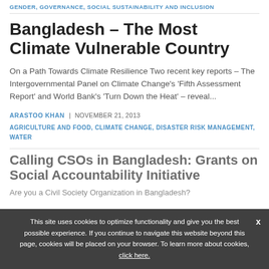GENDER, GOVERNANCE, SOCIAL SUSTAINABILITY AND INCLUSION
Bangladesh – The Most Climate Vulnerable Country
On a Path Towards Climate Resilience Two recent key reports – The Intergovernmental Panel on Climate Change's 'Fifth Assessment Report' and World Bank's 'Turn Down the Heat' – reveal...
ARASTOO KHAN | NOVEMBER 21, 2013
AGRICULTURE AND FOOD, CLIMATE CHANGE, DISASTER RISK MANAGEMENT, WATER
Calling CSOs in Bangladesh: Grants on Social Accountability Initiative
Are you a Civil Society Organization in Bangladesh?
This site uses cookies to optimize functionality and give you the best possible experience. If you continue to navigate this website beyond this page, cookies will be placed on your browser. To learn more about cookies, click here.